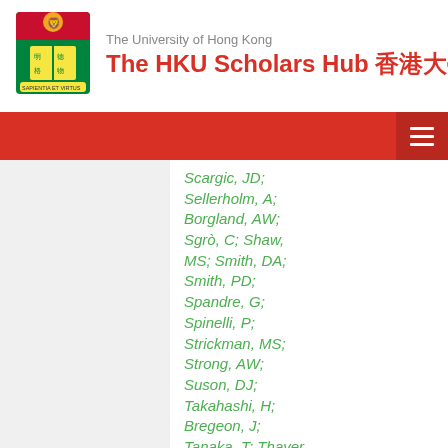The University of Hong Kong — The HKU Scholars Hub 香港大學學術庫
Scargic, JD; Sellerholm, A; Borgland, AW; Sgrò, C; Shaw, MS; Smith, DA; Smith, PD; Spandre, G; Spinelli, P; Strickman, MS; Strong, AW; Suson, DJ; Takahashi, H; Bregeon, J; Tanaka, T; Thayer, JB; Thayer, JG; Thompson, DJ; Tibaldo, L; Tibolla, O; Torres, DF;